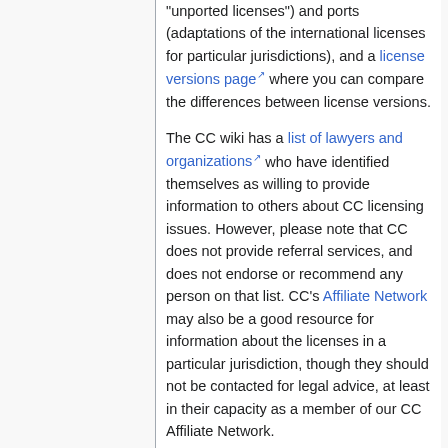"unported licenses") and ports (adaptations of the international licenses for particular jurisdictions), and a license versions page where you can compare the differences between license versions.
The CC wiki has a list of lawyers and organizations who have identified themselves as willing to provide information to others about CC licensing issues. However, please note that CC does not provide referral services, and does not endorse or recommend any person on that list. CC's Affiliate Network may also be a good resource for information about the licenses in a particular jurisdiction, though they should not be contacted for legal advice, at least in their capacity as a member of our CC Affiliate Network.